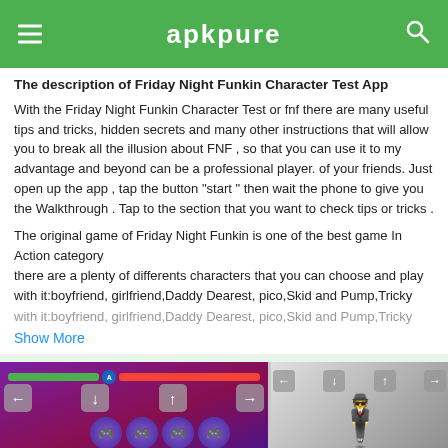apkpure
The description of Friday Night Funkin Character Test App
With the Friday Night Funkin Character Test or fnf there are many useful tips and tricks, hidden secrets and many other instructions that will allow you to break all the illusion about FNF , so that you can use it to my advantage and beyond can be a professional player. of your friends. Just open up the app , tap the button “start” then wait the phone to give you the Walkthrough . Tap to the section that you want to check tips or tricks .
The original game of Friday Night Funkin is one of the best game In Action category
there are a plenty of differents characters that you can choose and play with it:boyfriend, girlfriend,Daddy Dearest, pico,Skid and Pump,Tricky
Show More
[Figure (screenshot): Game screenshot showing Friday Night Funkin character test gameplay with health bars, arrow keys, character circles, and 'How to play' text]
[Figure (screenshot): Game screenshot showing a character in black suit against grey background with fire effects]